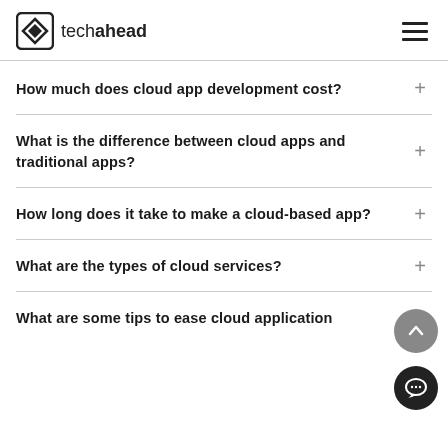techahead
How much does cloud app development cost?
What is the difference between cloud apps and traditional apps?
How long does it take to make a cloud-based app?
What are the types of cloud services?
What are some tips to ease cloud application